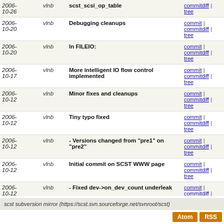| Date | Author | Message | Links |
| --- | --- | --- | --- |
| 2006-10-26 | vlnb | scst_scsi_op_table | commitdiff | tree |
| 2006-10-20 | vlnb | Debugging cleanups | commit | commitdiff | tree |
| 2006-10-20 | vlnb | In FILEIO: | commit | commitdiff | tree |
| 2006-10-17 | vlnb | More intelligent IO flow control implemented | commit | commitdiff | tree |
| 2006-10-12 | vlnb | Minor fixes and cleanups | commit | commitdiff | tree |
| 2006-10-12 | vlnb | Tiny typo fixed | commit | commitdiff | tree |
| 2006-10-12 | vlnb | - Versions changed from "pre1" on "pre2" | commit | commitdiff | tree |
| 2006-10-12 | vlnb | Initial commit on SCST WWW page | commit | commitdiff | tree |
| 2006-10-12 | vlnb | - Fixed dev->on_dev_count underleak | commit | commitdiff | tree |
| 2006-10-12 | vlnb | Property svn:ignore set | commit | commitdiff | tree |
| 2006-10-12 | vlnb | Initial doc's commit | commit | commitdiff | tree |
| 2006-10-12 | vlnb | Initial commit | commit | commitdiff | tree |
scst subversion mirror (https://scst.svn.sourceforge.net/svnroot/scst)